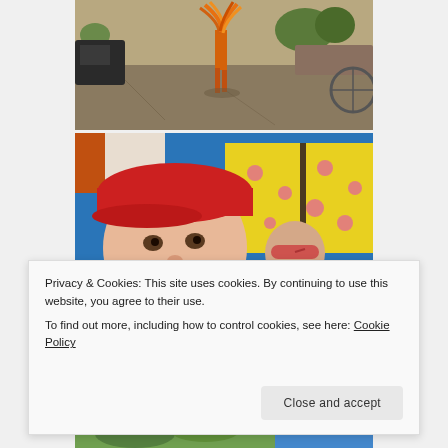[Figure (photo): Outdoor parade scene with a performer in an orange/red feathered costume walking on a street in bright sunlight, crowds and trees visible in background]
[Figure (photo): Close-up of a young toddler girl wearing a red baseball cap, looking upward with mouth slightly open; in background another child with sunglasses sits under a yellow floral umbrella/canopy]
Privacy & Cookies: This site uses cookies. By continuing to use this website, you agree to their use.
To find out more, including how to control cookies, see here: Cookie Policy
[Figure (photo): Partial view of a photo at the bottom of the page showing green foliage and bright blue sky]